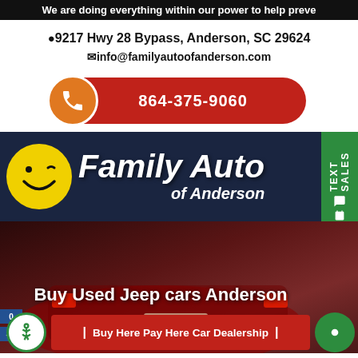We are doing everything within our power to help preve
9217 Hwy 28 Bypass, Anderson, SC 29624
info@familyautoofanderson.com
864-375-9060
[Figure (logo): Family Auto of Anderson logo with yellow smiley face on dark navy background]
[Figure (photo): Rear view of red car in parking lot]
Buy Used Jeep cars Anderson
Buy Here Pay Here Car Dealership